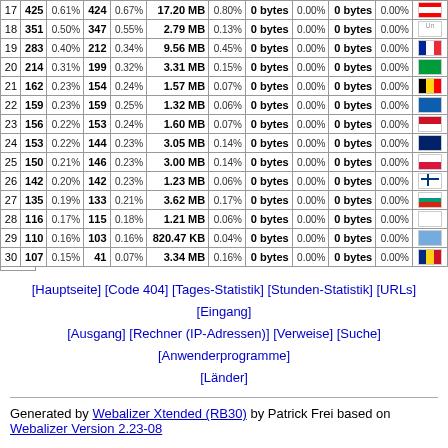| # | Visits | % | Pages | % | Bytes | % | in | % | out | % | Flag |
| --- | --- | --- | --- | --- | --- | --- | --- | --- | --- | --- | --- |
| 17 | 425 | 0.61% | 424 | 0.67% | 17.20 MB | 0.80% | 0 bytes | 0.00% | 0 bytes | 0.00% | CH |
| 18 | 351 | 0.50% | 347 | 0.55% | 2.79 MB | 0.13% | 0 bytes | 0.00% | 0 bytes | 0.00% | Un |
| 19 | 283 | 0.40% | 212 | 0.34% | 9.56 MB | 0.45% | 0 bytes | 0.00% | 0 bytes | 0.00% | FR |
| 20 | 214 | 0.31% | 199 | 0.32% | 3.31 MB | 0.15% | 0 bytes | 0.00% | 0 bytes | 0.00% | BR |
| 21 | 162 | 0.23% | 154 | 0.24% | 1.57 MB | 0.07% | 0 bytes | 0.00% | 0 bytes | 0.00% | BE |
| 22 | 159 | 0.23% | 159 | 0.25% | 1.32 MB | 0.06% | 0 bytes | 0.00% | 0 bytes | 0.00% | GR |
| 23 | 156 | 0.22% | 153 | 0.24% | 1.60 MB | 0.07% | 0 bytes | 0.00% | 0 bytes | 0.00% | ID |
| 24 | 153 | 0.22% | 144 | 0.23% | 3.05 MB | 0.14% | 0 bytes | 0.00% | 0 bytes | 0.00% | GB |
| 25 | 150 | 0.21% | 146 | 0.23% | 3.00 MB | 0.14% | 0 bytes | 0.00% | 0 bytes | 0.00% | PL |
| 26 | 142 | 0.20% | 142 | 0.23% | 1.23 MB | 0.06% | 0 bytes | 0.00% | 0 bytes | 0.00% | FI |
| 27 | 135 | 0.19% | 133 | 0.21% | 3.62 MB | 0.17% | 0 bytes | 0.00% | 0 bytes | 0.00% | BG |
| 28 | 116 | 0.17% | 115 | 0.18% | 1.21 MB | 0.06% | 0 bytes | 0.00% | 0 bytes | 0.00% | GE |
| 29 | 110 | 0.16% | 103 | 0.16% | 820.47 KB | 0.04% | 0 bytes | 0.00% | 0 bytes | 0.00% | AR |
| 30 | 107 | 0.15% | 41 | 0.07% | 3.34 MB | 0.16% | 0 bytes | 0.00% | 0 bytes | 0.00% | RO |
[Hauptseite] [Code 404] [Tages-Statistik] [Stunden-Statistik] [URLs] [Eingang] [Ausgang] [Rechner (IP-Adressen)] [Verweise] [Suche] [Anwenderprogramme] [Länder]
Generated by Webalizer Xtended (RB30) by Patrick Frei based on Webalizer Version 2.23-08